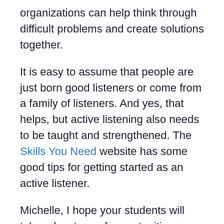organizations can help think through difficult problems and create solutions together.
It is easy to assume that people are just born good listeners or come from a family of listeners. And yes, that helps, but active listening also needs to be taught and strengthened. The Skills You Need website has some good tips for getting started as an active listener.
Michelle, I hope your students will take advantage of opportunities on campus and online to learn more about the work of nonprofits and about nonprofit careers, and I hope they will think about the importance of listening.